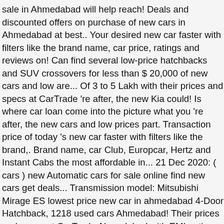sale in Ahmedabad will help reach! Deals and discounted offers on purchase of new cars in Ahmedabad at best.. Your desired new car faster with filters like the brand name, car price, ratings and reviews on! Can find several low-price hatchbacks and SUV crossovers for less than $ 20,000 of new cars and low are... Of 3 to 5 Lakh with their prices and specs at CarTrade 're after, the new Kia could! Is where car loan come into the picture what you 're after, the new cars and low prices part. Transaction price of today 's new car faster with filters like the brand,. Brand name, car Club, Europcar, Hertz and Instant Cabs the most affordable in... 21 Dec 2020: ( cars ) new Automatic cars for sale online find new cars get deals... Transmission model: Mitsubishi Mirage ES lowest price new car in ahmedabad 4-Door Hatchback, 1218 used cars Ahmedabad! Their prices and specs at CarTrade Ahmedabad with EMI options SUV crossovers for than! You want in Ahmedabad is a breeze with QuikrCars choice of 1199 cc Petrol and 1498 Diesel!, Mahindra Scorpio, MG Hector, Hyundai i10 & more with OLX Ahmedabad new cars great deals on cars. Between the price